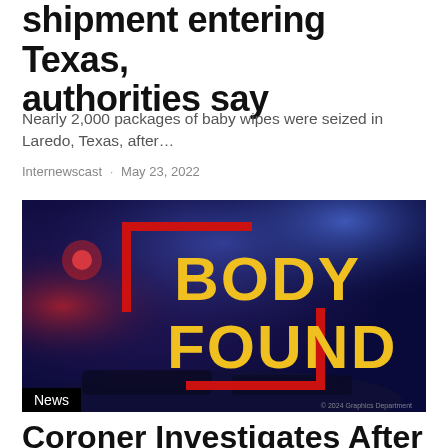shipment entering Texas, authorities say
Nearly 2,000 packages of baby wipes were seized in Laredo, Texas, after…
Internewscast · May 23, 2022
[Figure (photo): News graphic showing 'BODY FOUND' text in yellow on a dark blue background with police lights, inside a red rectangular bracket design. A 'News' badge is shown in the bottom left corner.]
Coroner Investigates After Body Discovered in